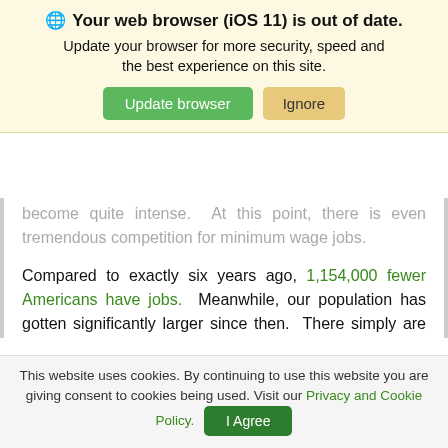🌐 Your web browser (iOS 11) is out of date. Update your browser for more security, speed and the best experience on this site. [Update browser] [Ignore]
become quite intense. At this point, there is even tremendous competition for minimum wage jobs.

Compared to exactly six years ago, 1,154,000 fewer Americans have jobs. Meanwhile, our population has gotten significantly larger since then. There simply are not enough jobs for everyone, and we continue to fall even farther behind. In January, the economy only added 113,000 jobs and in December the economy only added 75,000 jobs. Both of those...
This website uses cookies. By continuing to use this website you are giving consent to cookies being used. Visit our Privacy and Cookie Policy. [I Agree]